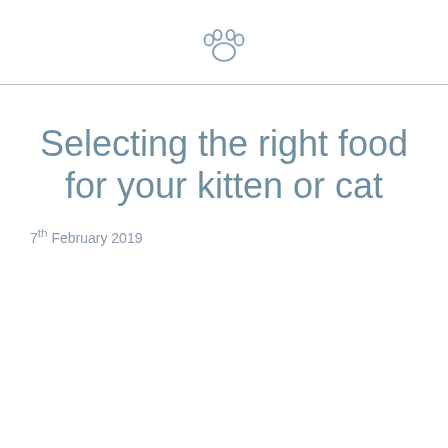[Figure (illustration): Paw print icon in light steel blue color at top center of page]
Selecting the right food for your kitten or cat
7th February 2019